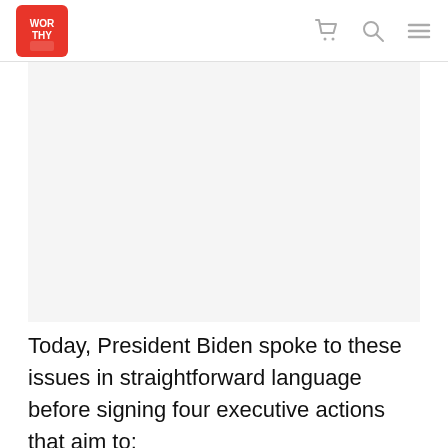WORTHY
[Figure (photo): Image placeholder area (article photo, not visible in this crop)]
Today, President Biden spoke to these issues in straightforward language before signing four executive actions that aim to:
- promote fair housing policies to redress historical racial discrimination in